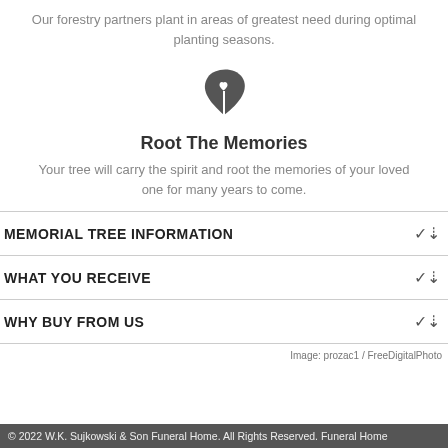Our forestry partners plant in areas of greatest need during optimal planting seasons.
[Figure (illustration): Leaf with heart icon, dark gray color]
Root The Memories
Your tree will carry the spirit and root the memories of your loved one for many years to come.
MEMORIAL TREE INFORMATION
WHAT YOU RECEIVE
WHY BUY FROM US
Image: prozac1 / FreeDigitalPhoto
© 2022 W.K. Sujkowski & Son Funeral Home. All Rights Reserved. Funeral Home